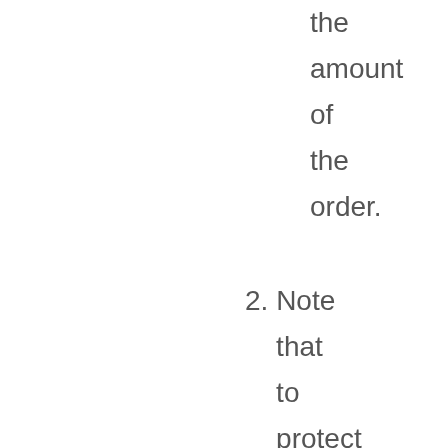the amount of the order.
2. Note that to protect its interests and the interests of customers, Tribe Coffee Roasting